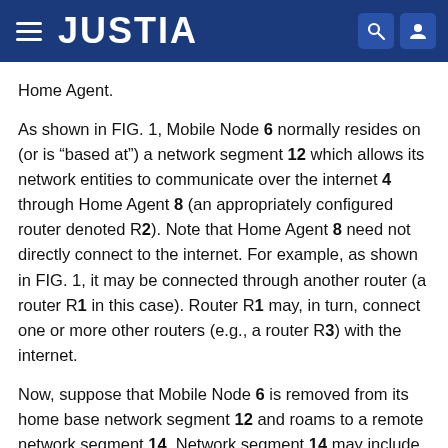JUSTIA
Home Agent.
As shown in FIG. 1, Mobile Node 6 normally resides on (or is “based at”) a network segment 12 which allows its network entities to communicate over the internet 4 through Home Agent 8 (an appropriately configured router denoted R2). Note that Home Agent 8 need not directly connect to the internet. For example, as shown in FIG. 1, it may be connected through another router (a router R1 in this case). Router R1 may, in turn, connect one or more other routers (e.g., a router R3) with the internet.
Now, suppose that Mobile Node 6 is removed from its home base network segment 12 and roams to a remote network segment 14. Network segment 14 may include various other nodes such as a PC 16. The nodes on